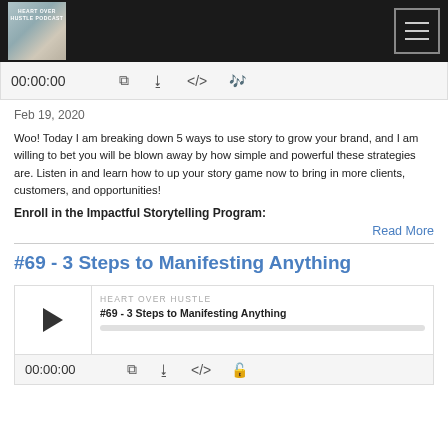Heart Over Hustle Podcast — navigation header
00:00:00
Feb 19, 2020
Woo! Today I am breaking down 5 ways to use story to grow your brand, and I am willing to bet you will be blown away by how simple and powerful these strategies are. Listen in and learn how to up your story game now to bring in more clients, customers, and opportunities!
Enroll in the Impactful Storytelling Program:
Read More
#69 - 3 Steps to Manifesting Anything
[Figure (screenshot): Podcast player embed showing HEART OVER HUSTLE, episode #69 - 3 Steps to Manifesting Anything, with play button and progress bar]
00:00:00